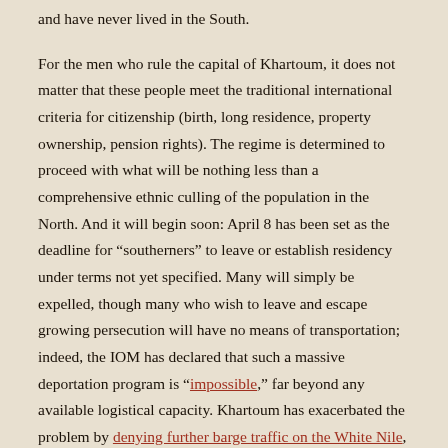and have never lived in the South.
For the men who rule the capital of Khartoum, it does not matter that these people meet the traditional international criteria for citizenship (birth, long residence, property ownership, pension rights). The regime is determined to proceed with what will be nothing less than a comprehensive ethnic culling of the population in the North. And it will begin soon: April 8 has been set as the deadline for “southerners” to leave or establish residency under terms not yet specified. Many will simply be expelled, though many who wish to leave and escape growing persecution will have no means of transportation; indeed, the IOM has declared that such a massive deportation program is “impossible,” far beyond any available logistical capacity. Khartoum has exacerbated the problem by denying further barge traffic on the White Nile, as well as other means of transport.